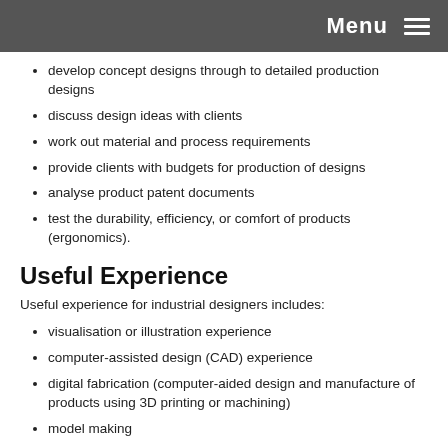Menu
develop concept designs through to detailed production designs
discuss design ideas with clients
work out material and process requirements
provide clients with budgets for production of designs
analyse product patent documents
test the durability, efficiency, or comfort of products (ergonomics).
Useful Experience
Useful experience for industrial designers includes:
visualisation or illustration experience
computer-assisted design (CAD) experience
digital fabrication (computer-aided design and manufacture of products using 3D printing or machining)
model making